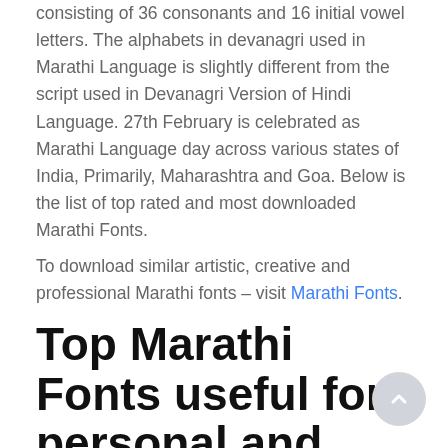consisting of 36 consonants and 16 initial vowel letters. The alphabets in devanagri used in Marathi Language is slightly different from the script used in Devanagri Version of Hindi Language. 27th February is celebrated as Marathi Language day across various states of India, Primarily, Maharashtra and Goa. Below is the list of top rated and most downloaded Marathi Fonts.
To download similar artistic, creative and professional Marathi fonts – visit Marathi Fonts.
Top Marathi Fonts useful for personal and business use